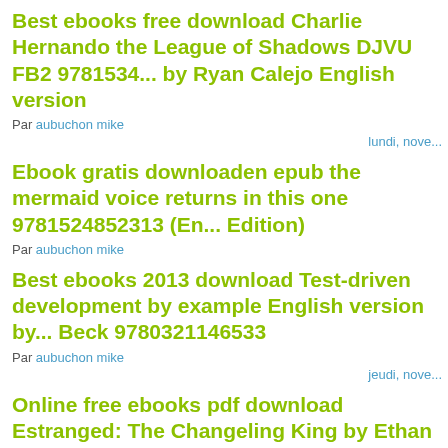Best ebooks free download Charlie Hernando the League of Shadows DJVU FB2 9781534... by Ryan Calejo English version
Par aubuchon mike
lundi, nove...
Ebook gratis downloaden epub the mermaid voice returns in this one 9781524852313 (En... Edition)
Par aubuchon mike
Best ebooks 2013 download Test-driven development by example English version by... Beck 9780321146533
Par aubuchon mike
jeudi, nove...
Online free ebooks pdf download Estranged: The Changeling King by Ethan M. Aldridge...
Par aubuchon mike
Free online books download to read Find M...
Par aubuchon mike